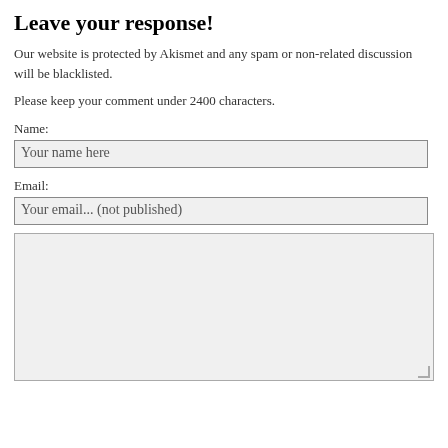Leave your response!
Our website is protected by Akismet and any spam or non-related discussion will be blacklisted.
Please keep your comment under 2400 characters.
Name:
Your name here
Email:
Your email... (not published)